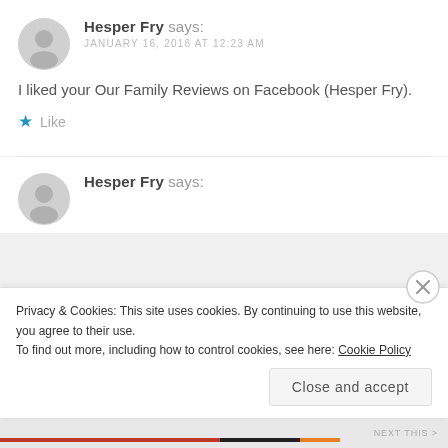Hesper Fry says: JANUARY 16, 2018 AT 12:23 AM
I liked your Our Family Reviews on Facebook (Hesper Fry).
★ Like
Hesper Fry says:
Privacy & Cookies: This site uses cookies. By continuing to use this website, you agree to their use.
To find out more, including how to control cookies, see here: Cookie Policy
Close and accept